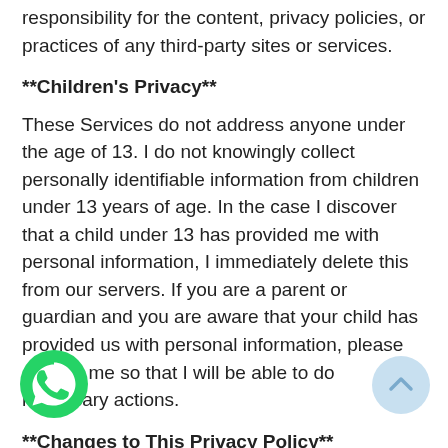responsibility for the content, privacy policies, or practices of any third-party sites or services.
**Children's Privacy**
These Services do not address anyone under the age of 13. I do not knowingly collect personally identifiable information from children under 13 years of age. In the case I discover that a child under 13 has provided me with personal information, I immediately delete this from our servers. If you are a parent or guardian and you are aware that your child has provided us with personal information, please contact me so that I will be able to do necessary actions.
**Changes to This Privacy Policy**